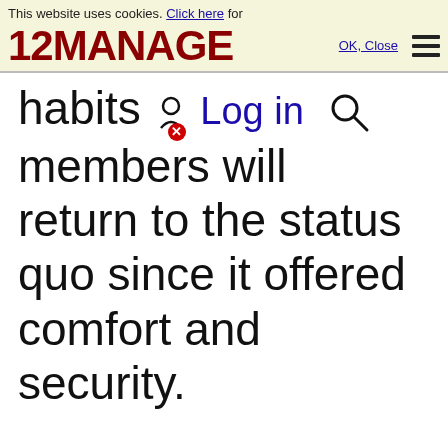This website uses cookies. Click here for more information. OK, Close
[Figure (logo): 12MANAGE logo in dark red bold text with hamburger menu icon]
habits and the members will return to the status quo since it offered comfort and security.